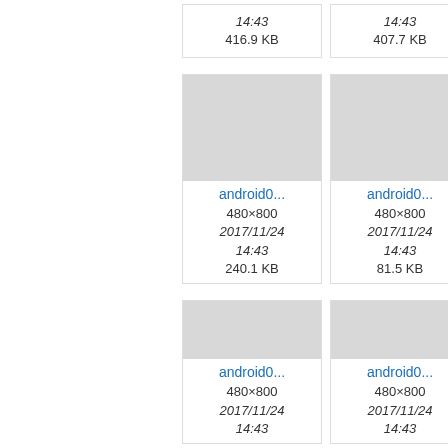[Figure (screenshot): File browser grid view showing Android image thumbnails with metadata. Top partial row shows two cards with time 14:43 and sizes 416.9 KB and 407.7 KB. Middle row shows two full cards and one partial card: android0... 480×800 2017/11/24 14:43 240.1 KB; android0... 480×800 2017/11/24 14:43 81.5 KB; partial card visible. Bottom row shows two full cards and one partial: android0... 480×800 2017/11/24 14:43; android0... 480×800 2017/11/24 14:43.]